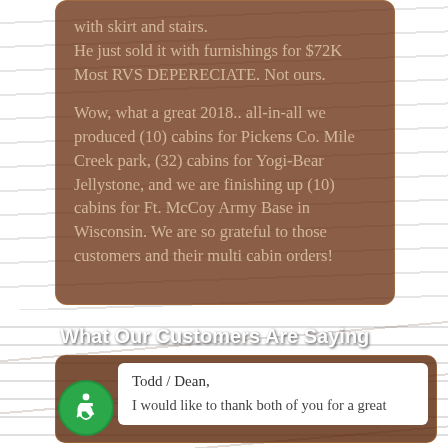with skirt and stairs.
He just sold it with furnishings for $72K
Most RVS DEPERECIATE. Not ours.
Wow, what a great 2018.. all-in-all we produced (10) cabins for Pickens Co. Mile Creek park, (32) cabins for Yogi-Bear Jellystone, and we are finishing up (10) cabins for Ft. McCoy Army Base in Wisconsin. We are so grateful to those customers and their multi cabin orders!
What Our Customers Are Saying
Todd / Dean,
I would like to thank both of you for a great